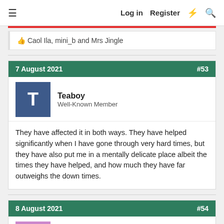Log in  Register
Caol Ila, mini_b and Mrs Jingle
7 August 2021  #53
Teaboy
Well-Known Member
They have affected it in both ways. They have helped significantly when I have gone through very hard times, but they have also put me in a mentally delicate place albeit the times they have helped, and how much they have far outweighs the down times.
8 August 2021  #54
Boots*McGruber
Well-Known Member